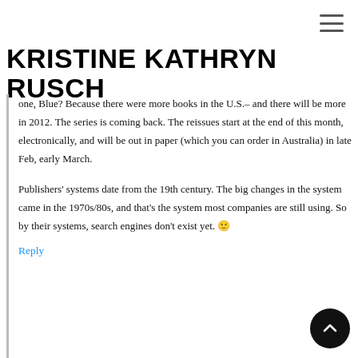KRISTINE KATHRYN RUSCH
one, Blue? Because there were more books in the U.S.– and there will be more in 2012. The series is coming back. The reissues start at the end of this month, electronically, and will be out in paper (which you can order in Australia) in late Feb, early March.
Publishers' systems date from the 19th century. The big changes in the system came in the 1970s/80s, and that's the system most companies are still using. So by their systems, search engines don't exist yet. 🙂
Reply